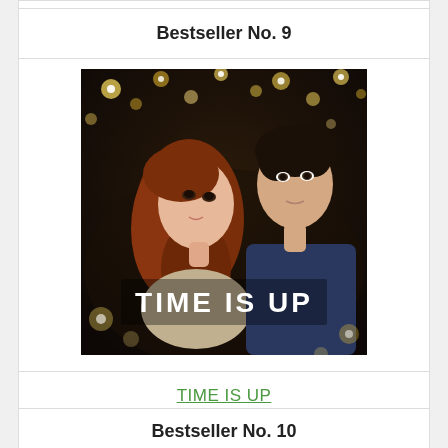Bestseller No. 9
[Figure (photo): Movie poster for 'Time Is Up' showing a young woman with red hair looking up and a young man behind her, with string lights in the background and the text 'TIME IS UP' overlaid.]
TIME IS UP
Price:
Buy On Amazon
Bestseller No. 10